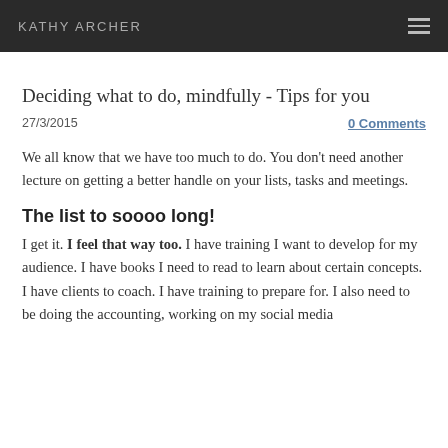KATHY ARCHER
Deciding what to do, mindfully - Tips for you
27/3/2015
0 Comments
We all know that we have too much to do. You don't need another lecture on getting a better handle on your lists, tasks and meetings.
The list to soooo long!
I get it. I feel that way too. I have training I want to develop for my audience. I have books I need to read to learn about certain concepts. I have clients to coach. I have training to prepare for. I also need to be doing the accounting, working on my social media